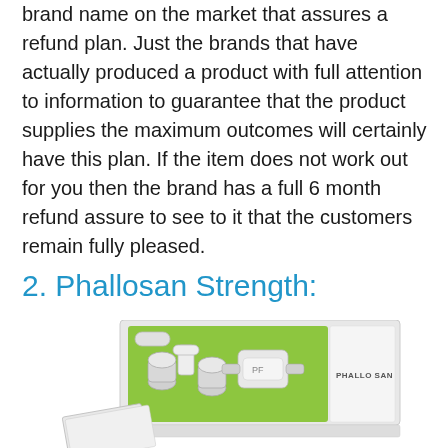brand name on the market that assures a refund plan. Just the brands that have actually produced a product with full attention to information to guarantee that the product supplies the maximum outcomes will certainly have this plan. If the item does not work out for you then the brand has a full 6 month refund assure to see to it that the customers remain fully pleased.
2. Phallosan Strength:
[Figure (photo): A product kit photo showing Phallosan Forte device components in a white box with green interior, alongside packaging materials]